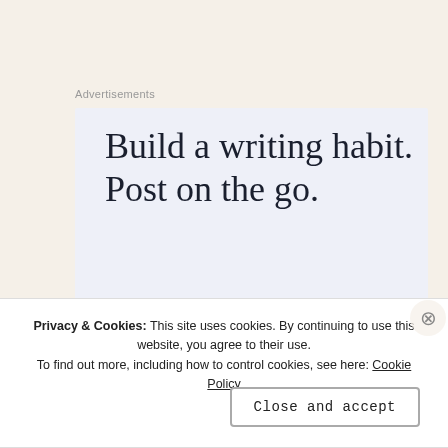Advertisements
[Figure (infographic): Advertisement banner with light blue background showing text: Build a writing habit. Post on the go.]
Privacy & Cookies: This site uses cookies. By continuing to use this website, you agree to their use.
To find out more, including how to control cookies, see here: Cookie Policy
Close and accept